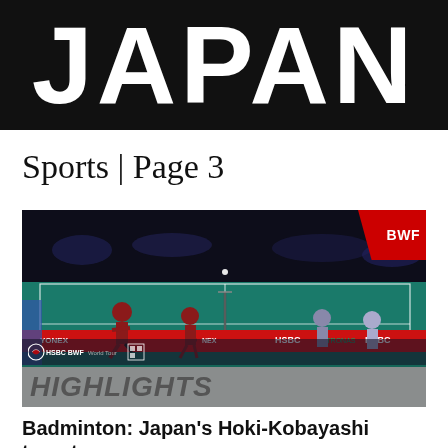JAPAN
Sports | Page 3
[Figure (photo): BWF badminton match highlights photo showing players on a green indoor court with HSBC and PETRONAS sponsorship banners. A BWF logo badge appears in the top right corner. The bottom overlay reads HIGHLIGHTS in large italic text.]
Badminton: Japan's Hoki-Kobayashi target world No. 1 spot after title win